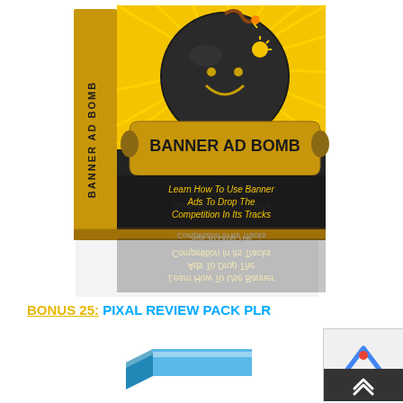[Figure (illustration): 3D book cover for 'Banner Ad Bomb' - black and yellow cover showing a bomb character on a yellow sunburst background with text 'Learn How To Use Banner Ads To Drop The Competition In Its Tracks', with a reflection below]
BONUS 25: PIXAL REVIEW PACK PLR
[Figure (illustration): Partial view of another 3D product box at bottom of page, showing a blue and white box]